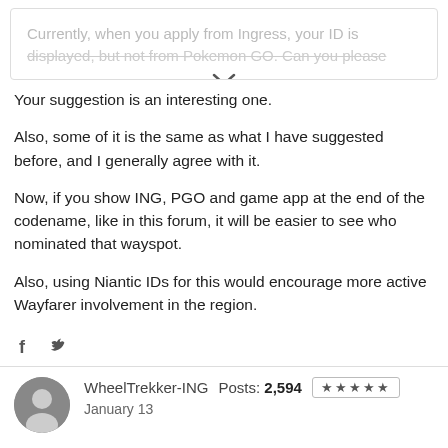[Figure (screenshot): Collapsed forum post preview showing greyed out text 'Currently, when you apply from Ingress, your ID is displayed, but not from Pokemon GO. Can you please' with a chevron/expand icon]
Your suggestion is an interesting one.
Also, some of it is the same as what I have suggested before, and I generally agree with it.
Now, if you show ING, PGO and game app at the end of the codename, like in this forum, it will be easier to see who nominated that wayspot.
Also, using Niantic IDs for this would encourage more active Wayfarer involvement in the region.
[Figure (infographic): Social share icons: Facebook (f) and Twitter (bird) icons]
WheelTrekker-ING   Posts: 2,594   ★★★★★   January 13
Please, don't.